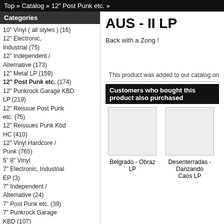Top » Catalog » 12" Post Punk etc. »
Categories
10" Vinyl ( all styles ) (16)
12" Electronic, Industrial (75)
12" Independent / Alternative (173)
12" Metal LP (159)
12" Post Punk etc. (174)
12" Punkrock Garage KBD LP (219)
12" Reissue Post Punk etc. (75)
12" Reissues Punk Kbd HC (410)
12" Vinyl Hardcore / Punk (765)
5" 8" Vinyl
7" Electronic, Industrial EP (3)
7" Independent / Alternative (24)
7" Post Punk etc. (39)
7" Punkrock Garage KBD (107)
7" Reissues Punk Kbd HC (151)
7" Vinyl Hardcore / Punk (756)
Books (31)
Boxset (5)
CD
DARK ENTRIES (24)
DVD / VHS (1)
Folk / World Musik (25)
HIP HOP (5)
Jazz, Blues, Funk etc.
Kraut Psychedelic Rock etc. (37)
AUS - II LP
Back with a Zong !
This product was added to our catalog on
Customers who bought this product also purchased
Belgrado - Obraz LP
Desenterradas - Danzando Caos LP